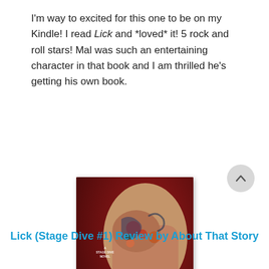I'm way to excited for this one to be on my Kindle! I read Lick and *loved* it! 5 rock and roll stars! Mal was such an entertaining character in that book and I am thrilled he's getting his own book.
[Figure (illustration): Book cover of 'Lick' by Kylie Scott — A Stage Dive Novel. Dark red background, tattooed man holding a red electric guitar, cursive title 'Lick', author name 'Kylie Scott', tagline 'USA TODAY BESTSELLER'.]
Lick (Stage Dive #1) Review by About That Story